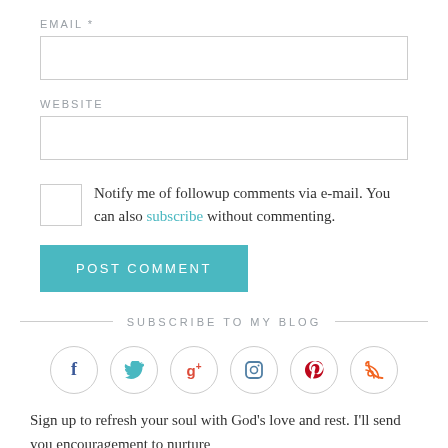EMAIL *
WEBSITE
Notify me of followup comments via e-mail. You can also subscribe without commenting.
POST COMMENT
SUBSCRIBE TO MY BLOG
[Figure (infographic): Row of 6 circular social media icons: Facebook (f), Twitter (bird), Google+ (g+), Instagram (camera), Pinterest (P), RSS (wifi symbol)]
Sign up to refresh your soul with God's love and rest. I'll send you encouragement to nurture